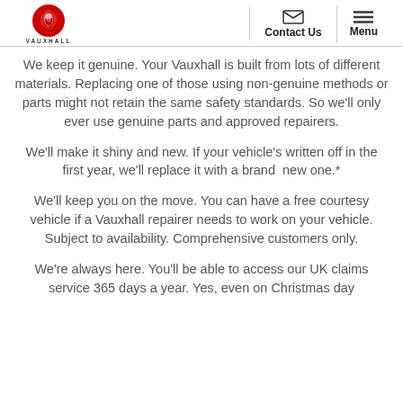Vauxhall — Contact Us | Menu
We keep it genuine. Your Vauxhall is built from lots of different materials. Replacing one of those using non-genuine methods or parts might not retain the same safety standards. So we’ll only ever use genuine parts and approved repairers.
We’ll make it shiny and new. If your vehicle’s written off in the first year, we’ll replace it with a brand new one.*
We’ll keep you on the move. You can have a free courtesy vehicle if a Vauxhall repairer needs to work on your vehicle. Subject to availability. Comprehensive customers only.
We’re always here. You’ll be able to access our UK claims service 365 days a year. Yes, even on Christmas day